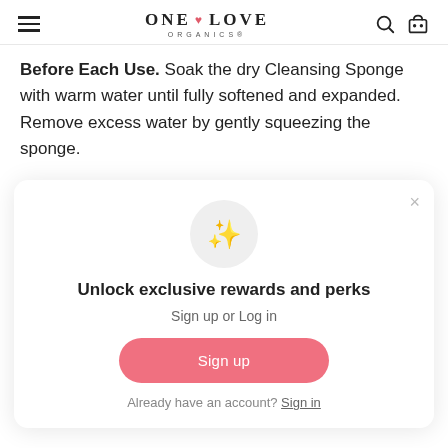ONE LOVE ORGANICS
Before Each Use. Soak the dry Cleansing Sponge with warm water until fully softened and expanded. Remove excess water by gently squeezing the sponge.
[Figure (infographic): Modal popup with sparkle emoji icon, title 'Unlock exclusive rewards and perks', subtitle 'Sign up or Log in', a pink 'Sign up' button, and a 'Already have an account? Sign in' link.]